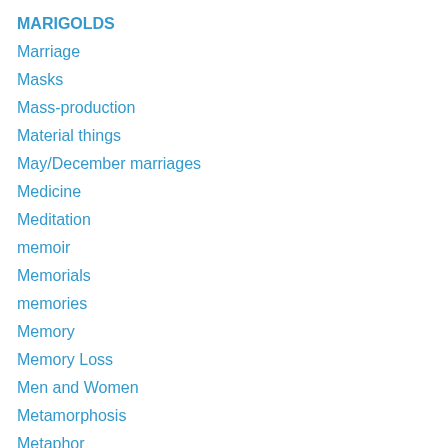MARIGOLDS
Marriage
Masks
Mass-production
Material things
May/December marriages
Medicine
Meditation
memoir
Memorials
memories
Memory
Memory Loss
Men and Women
Metamorphosis
Metaphor
Mexican Fiestas
Mexican Flowers
Mexican Independencia
Mexican market details